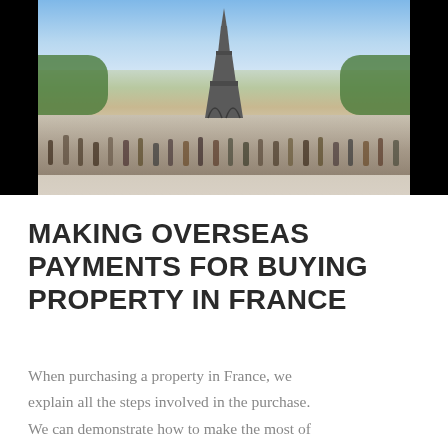[Figure (photo): Aerial/street-level photo of the Eiffel Tower in Paris with crowds of tourists in the foreground on a sunny day, black bars on left and right sides of the image]
MAKING OVERSEAS PAYMENTS FOR BUYING PROPERTY IN FRANCE
When purchasing a property in France, we explain all the steps involved in the purchase. We can demonstrate how to make the most of